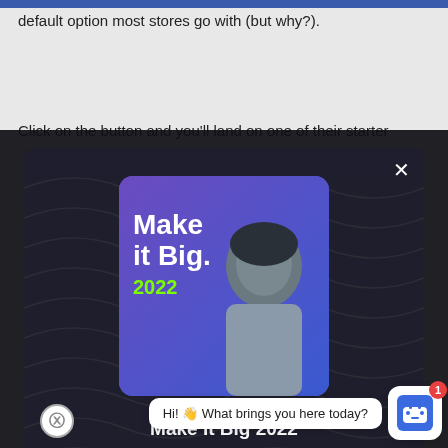default option most stores go with (but why?).
Click on the button and you'll land on one of their starter
[Figure (screenshot): A modal popup with dark background showing a 'Make it Big 2022' promotional image with a woman silhouette and text overlay, along with title 'Make It Big 2022' and partial body text about joining a conference. A chatbot widget appears at the bottom right with message 'Hi! What brings you here today?']